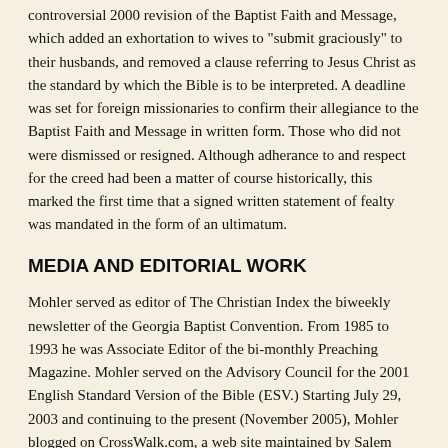controversial 2000 revision of the Baptist Faith and Message, which added an exhortation to wives to "submit graciously" to their husbands, and removed a clause referring to Jesus Christ as the standard by which the Bible is to be interpreted. A deadline was set for foreign missionaries to confirm their allegiance to the Baptist Faith and Message in written form. Those who did not were dismissed or resigned. Although adherance to and respect for the creed had been a matter of course historically, this marked the first time that a signed written statement of fealty was mandated in the form of an ultimatum.
MEDIA AND EDITORIAL WORK
Mohler served as editor of The Christian Index the biweekly newsletter of the Georgia Baptist Convention. From 1985 to 1993 he was Associate Editor of the bi-monthly Preaching Magazine. Mohler served on the Advisory Council for the 2001 English Standard Version of the Bible (ESV.) Starting July 29, 2003 and continuing to the present (November 2005), Mohler blogged on CrossWalk.com, a web site maintained by Salem Web Network of Chesterfield, VA. He presently is heard on a nationally syndicated radio talk show, The Albert Mohler Program, and also maintains a web site, www.albertmohler.com.
PROFESSOR T/EOLOGY